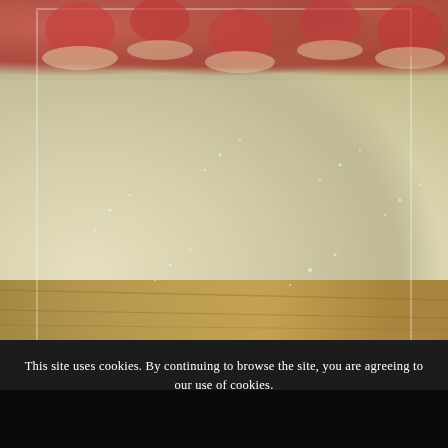[Figure (photo): A photograph of numerous French macarons in pale green/cream color dusted with powdered sugar, arranged on a wooden board. In the background are red raspberry tarts in fluted pastry cups.]
This site uses cookies. By continuing to browse the site, you are agreeing to our use of cookies.
OK